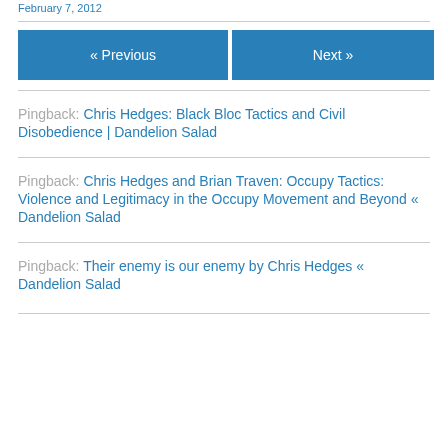February 7, 2012
« Previous   Next »
Pingback: Chris Hedges: Black Bloc Tactics and Civil Disobedience | Dandelion Salad
Pingback: Chris Hedges and Brian Traven: Occupy Tactics: Violence and Legitimacy in the Occupy Movement and Beyond « Dandelion Salad
Pingback: Their enemy is our enemy by Chris Hedges « Dandelion Salad